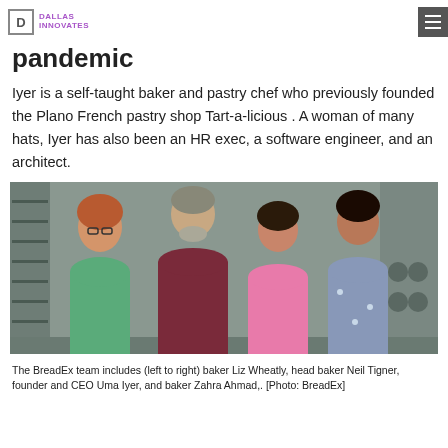DALLAS INNOVATES
pandemic
Iyer is a self-taught baker and pastry chef who previously founded the Plano French pastry shop Tart-a-licious . A woman of many hats, Iyer has also been an HR exec, a software engineer, and an architect.
[Figure (photo): The BreadEx team of four people standing in a commercial kitchen: baker Liz Wheatly (green floral dress), head baker Neil Tigner (dark red shirt), founder and CEO Uma Iyer (pink sweater), and baker Zahra Ahmad (floral dress).]
The BreadEx team includes (left to right) baker Liz Wheatly, head baker Neil Tigner, founder and CEO Uma Iyer, and baker Zahra Ahmad,. [Photo: BreadEx]